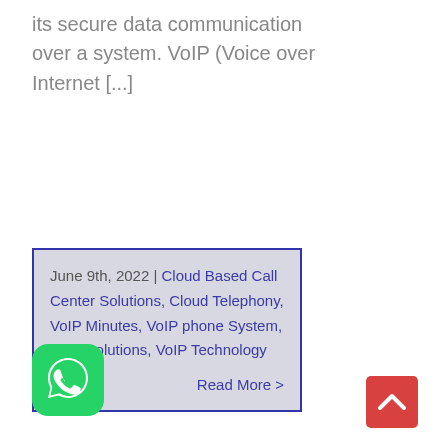its secure data communication over a system. VoIP (Voice over Internet [...]
June 9th, 2022 | Cloud Based Call Center Solutions, Cloud Telephony, VoIP Minutes, VoIP phone System, VoIP Solutions, VoIP Technology
Read More >
[Figure (logo): WhatsApp green rounded square icon with white phone handset in speech bubble]
[Figure (other): Red back-to-top button with upward caret arrow]